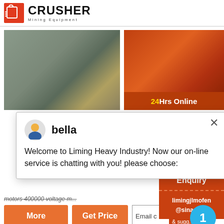[Figure (logo): Crusher Mining Equipment logo with red shopping bag icon and bold text]
[Figure (photo): Excavator working at a mining/quarry site with forest in background]
[Figure (photo): Orange industrial crusher machine close-up]
24Hrs Online
bella
Welcome to Liming Heavy Industry! Now our on-line service is chatting with you! please choose:
motors 400000 voltage m...
More
Get Price
Email c...
Need... & sugg...
1
Chat Now
Enquiry
limingjlmofen@sina.com
[Figure (photo): Industrial wheel/drum machinery]
[Figure (photo): Rocky mountain/quarry landscape]